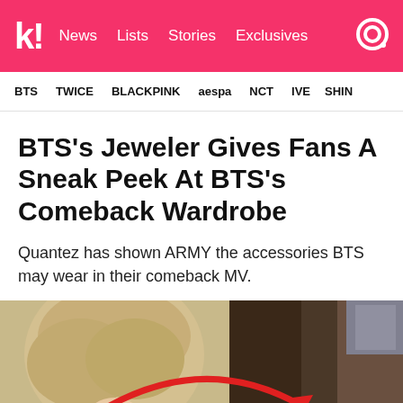k! News Lists Stories Exclusives
BTS  TWICE  BLACKPINK  aespa  NCT  IVE  SHIN
BTS's Jeweler Gives Fans A Sneak Peek At BTS's Comeback Wardrobe
Quantez has shown ARMY the accessories BTS may wear in their comeback MV.
[Figure (photo): Two-panel photo: left panel shows a person with short blonde hair from behind/side; right panel shows a dark interior scene. A red curved arrow overlays both panels.]